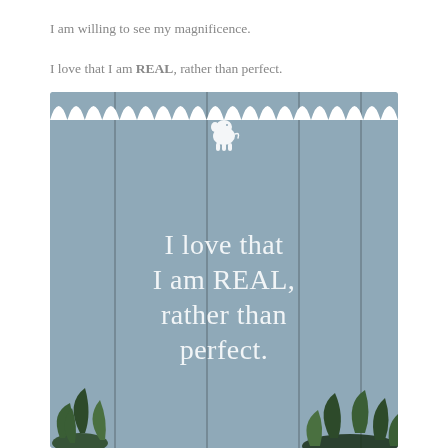I am willing to see my magnificence.
I love that I am REAL, rather than perfect.
[Figure (illustration): A light blue painted wooden fence with vertical planks. White scallop border at the top. A small white elephant logo near the top center. Large white serif text reads 'I love that I am REAL, rather than perfect.' Green plants visible at the bottom corners.]